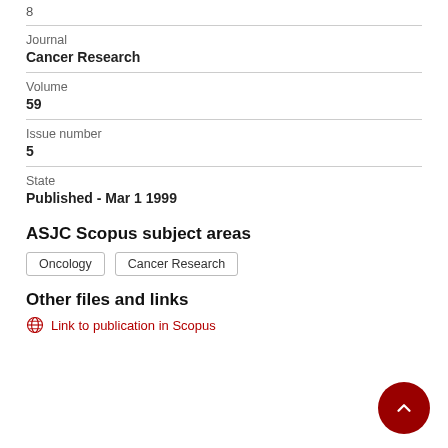8
Journal
Cancer Research
Volume
59
Issue number
5
State
Published - Mar 1 1999
ASJC Scopus subject areas
Oncology
Cancer Research
Other files and links
Link to publication in Scopus